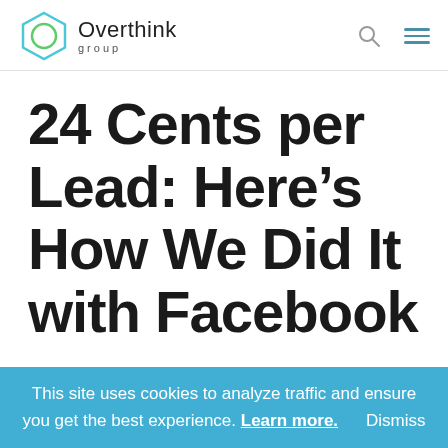Overthink group
24 Cents per Lead: Here’s How We Did It with Facebook
This site uses cookies to analyze traffic and ensure you get the best experience. Learn more. Dismiss